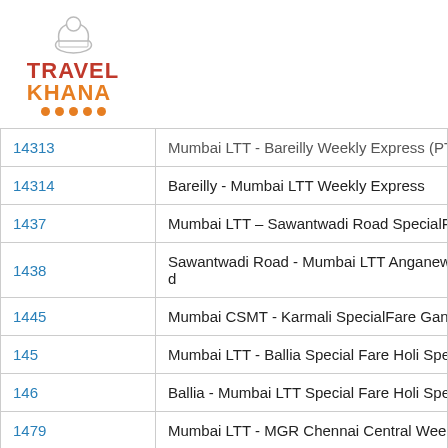[Figure (logo): Travel Khana logo with chef hat icon, red TRAVEL text and orange KHANA text with orange dots underline]
| Number | Name |
| --- | --- |
| 14313 | Mumbai LTT - Bareilly Weekly Express (PT) |
| 14314 | Bareilly - Mumbai LTT Weekly Express |
| 1437 | Mumbai LTT – Sawantwadi Road SpecialFa... |
| 1438 | Sawantwadi Road - Mumbai LTT Anganewad... |
| 1445 | Mumbai CSMT - Karmali SpecialFare Ganpa... |
| 145 | Mumbai LTT - Ballia Special Fare Holi Spec... |
| 146 | Ballia - Mumbai LTT Special Fare Holi Spec... |
| 1479 | Mumbai LTT - MGR Chennai Central Weekly... |
| 1480 | MGR Chennai Central - Mumbai LTT Weekly... |
| 15017 | Kashi Express (PT) |